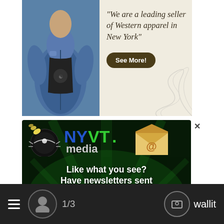[Figure (photo): Advertisement for Western apparel store showing a person in a denim jacket with quote 'We are a leading seller of Western apparel in New York' and a 'See More!' button]
[Figure (infographic): NYVT Media newsletter subscription popup with logo, email envelope icon, text 'Like what you see? Have newsletters sent right to your inbox!' and a blue 'Subscribe!' button]
1/3   wallit